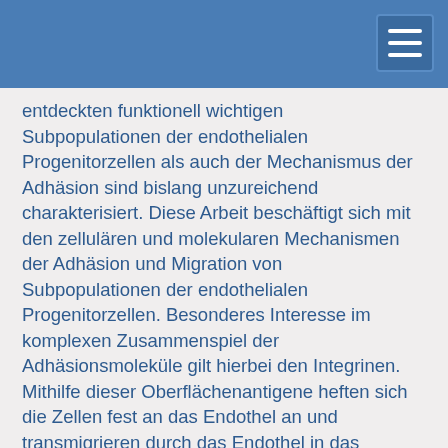entdeckten funktionell wichtigen Subpopulationen der endothelialen Progenitorzellen als auch der Mechanismus der Adhäsion sind bislang unzureichend charakterisiert. Diese Arbeit beschäftigt sich mit den zellulären und molekularen Mechanismen der Adhäsion und Migration von Subpopulationen der endothelialen Progenitorzellen. Besonderes Interesse im komplexen Zusammenspiel der Adhäsionsmoleküle gilt hierbei den Integrinen. Mithilfe dieser Oberflächenantigene heften sich die Zellen fest an das Endothel an und transmigrieren durch das Endothel in das Gewebe ein. Es ist bislang unbekannt, welche Integrine auf welchen Subpopulationen der endothelialen Progenitorzellen welche Relevanz für die Adhäsion und Migration haben. Methoden: Aus peripherem Blut gesunder Probanden gewonnene Mononukleäre Zellen